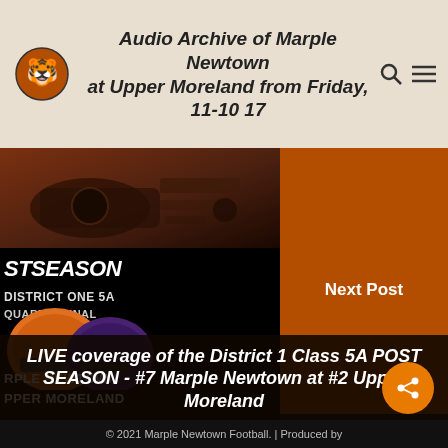Audio Archive of Marple Newtown at Upper Moreland from Friday, 11-10 17
[Figure (screenshot): Audio recording equipment photo with brownish overlay]
[Figure (screenshot): Football postseason graphic showing District One 5A Quarterfinal with Marple Newtown vs Upper Moreland helmets]
Next Post
LIVE coverage of the District 1 Class 5A POST SEASON - #7 Marple Newtown at #2 Upper Moreland
© 2021 Marple Newtown Football. | Produced by